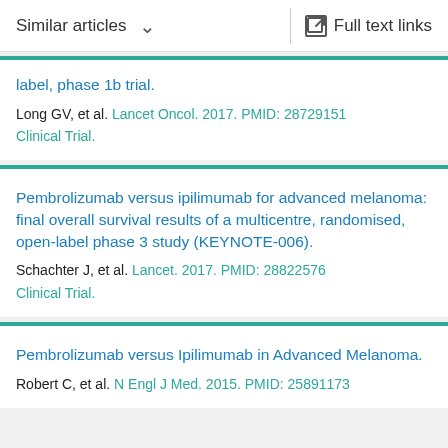Similar articles   Full text links
label, phase 1b trial.
Long GV, et al. Lancet Oncol. 2017. PMID: 28729151
Clinical Trial.
Pembrolizumab versus ipilimumab for advanced melanoma: final overall survival results of a multicentre, randomised, open-label phase 3 study (KEYNOTE-006).
Schachter J, et al. Lancet. 2017. PMID: 28822576
Clinical Trial.
Pembrolizumab versus Ipilimumab in Advanced Melanoma.
Robert C, et al. N Engl J Med. 2015. PMID: 25891173